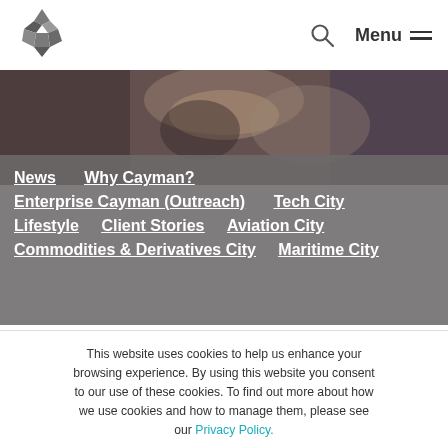[Figure (logo): Pentagon/star shaped logo made of grey geometric facets]
[Figure (photo): Close-up photo of hands holding a glass/bowl, dark toned background]
News   Why Cayman?
Enterprise Cayman (Outreach)   Tech City
Lifestyle   Client Stories   Aviation City
Commodities & Derivatives City   Maritime City
This website uses cookies to help us enhance your browsing experience. By using this website you consent to our use of these cookies. To find out more about how we use cookies and how to manage them, please see our Privacy Policy.